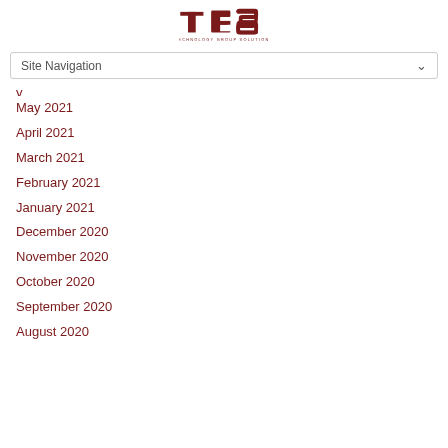[Figure (logo): TGS - Technology Group Solutions logo in dark red]
Site Navigation
May 2021
April 2021
March 2021
February 2021
January 2021
December 2020
November 2020
October 2020
September 2020
August 2020